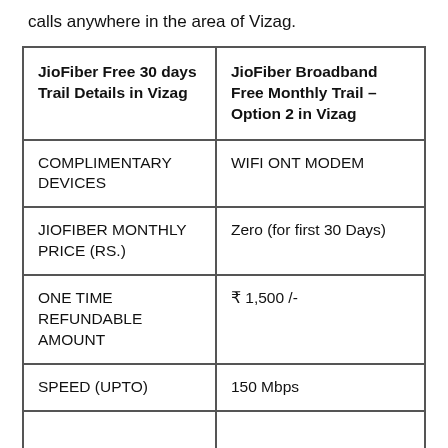calls anywhere in the area of Vizag.
| JioFiber Free 30 days Trail Details in Vizag | JioFiber Broadband Free Monthly Trail – Option 2 in Vizag |
| --- | --- |
| COMPLIMENTARY DEVICES | WIFI ONT MODEM |
| JIOFIBER MONTHLY PRICE (RS.) | Zero (for first 30 Days) |
| ONE TIME REFUNDABLE AMOUNT | ₹ 1,500 /- |
| SPEED (UPTO) | 150 Mbps |